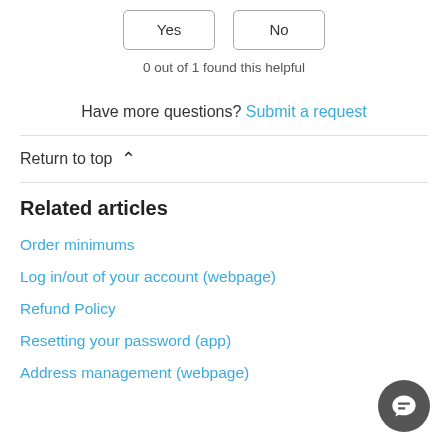Yes   No
0 out of 1 found this helpful
Have more questions? Submit a request
Return to top
Related articles
Order minimums
Log in/out of your account (webpage)
Refund Policy
Resetting your password (app)
Address management (webpage)